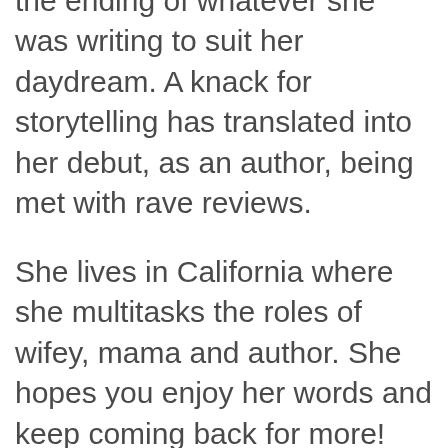journal and typically change the ending of whatever she was writing to suit her daydream. A knack for storytelling has translated into her debut, as an author, being met with rave reviews.
She lives in California where she multitasks the roles of wifey, mama and author. She hopes you enjoy her words and keep coming back for more!
Read Sexy, Stay Sexy!